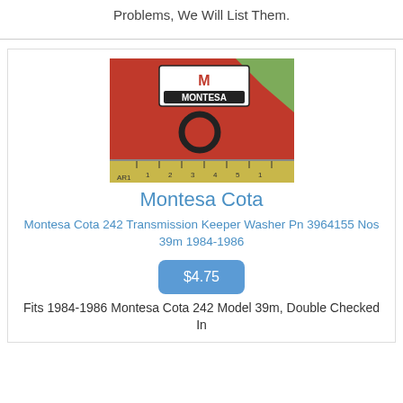Problems, We Will List Them.
[Figure (photo): Photo of a Montesa-branded red plastic bag containing a small circular transmission keeper washer, with a yellow ruler visible at the bottom showing measurements.]
Montesa Cota
Montesa Cota 242 Transmission Keeper Washer Pn 3964155 Nos 39m 1984-1986
$4.75
Fits 1984-1986 Montesa Cota 242 Model 39m, Double Checked In